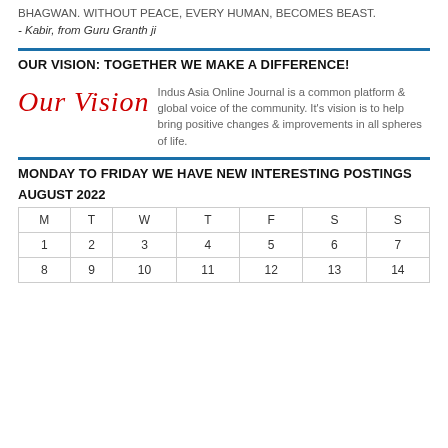BHAGWAN. WITHOUT PEACE, EVERY HUMAN, BECOMES BEAST.
- Kabir, from Guru Granth ji
OUR VISION: TOGETHER WE MAKE A DIFFERENCE!
[Figure (illustration): Our Vision logo in red cursive/script font]
Indus Asia Online Journal is a common platform & global voice of the community. It's vision is to help bring positive changes & improvements in all spheres of life.
MONDAY TO FRIDAY WE HAVE NEW INTERESTING POSTINGS
AUGUST 2022
| M | T | W | T | F | S | S |
| --- | --- | --- | --- | --- | --- | --- |
| 1 | 2 | 3 | 4 | 5 | 6 | 7 |
| 8 | 9 | 10 | 11 | 12 | 13 | 14 |